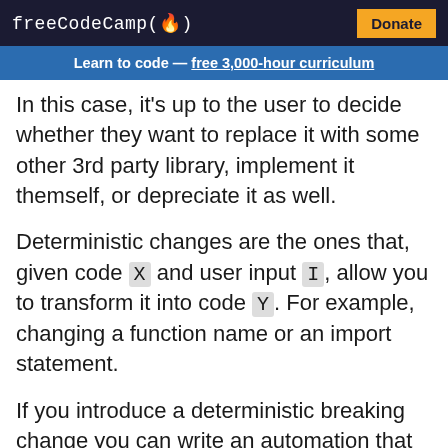freeCodeCamp(🔥)  Donate
Learn to code — free 3,000-hour curriculum
In this case, it's up to the user to decide whether they want to replace it with some other 3rd party library, implement it themself, or depreciate it as well.
Deterministic changes are the ones that, given code X and user input I, allow you to transform it into code Y. For example, changing a function name or an import statement.
If you introduce a deterministic breaking change you can write an automation that will change the code and let you re-direct it to the new API.